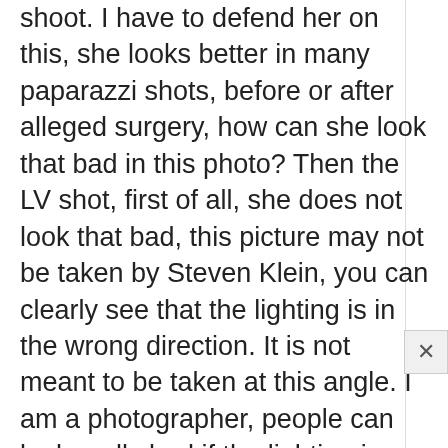shoot. I have to defend her on this, she looks better in many paparazzi shots, before or after alleged surgery, how can she look that bad in this photo? Then the LV shot, first of all, she does not look that bad, this picture may not be taken by Steven Klein, you can clearly see that the lighting is in the wrong direction. It is not meant to be taken at this angle. I am a photographer, people can look really bad if the lighting is done in the wrong direction, no matter now perfect you look, all the bad things will show. This looks like a snap picture by some assistant taken during the shoot. To compare them for real, we really need to see the exact photo taken by Steven Klein. Besides, I think to get the effect in the final photos of the LV ad, I think there are some other colored lights used in the shoot to create that solarise effect, which we don't see in this